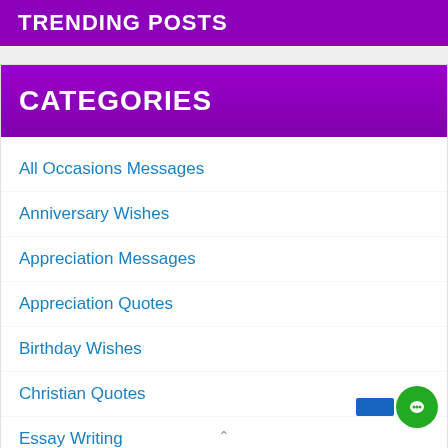TRENDING POSTS
CATEGORIES
All Occasions Messages
Anniversary Wishes
Appreciation Messages
Appreciation Quotes
Birthday Wishes
Christian Quotes
Essay Writing